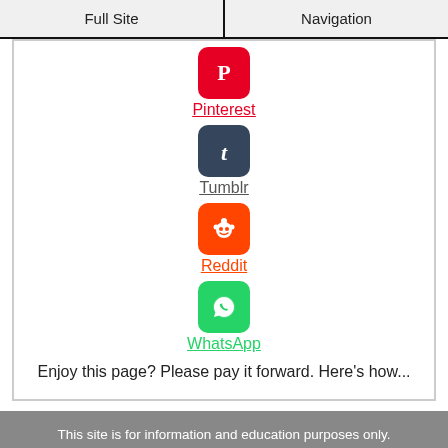Full Site | Navigation
[Figure (logo): Pinterest logo icon - red rounded square with white P]
Pinterest
[Figure (logo): Tumblr logo icon - dark blue rounded square with white t]
Tumblr
[Figure (logo): Reddit logo icon - orange rounded square with white alien mascot]
Reddit
[Figure (logo): WhatsApp logo icon - green rounded square with white phone]
WhatsApp
Enjoy this page? Please pay it forward. Here's how...
This site is for information and education purposes only. It is not intended to diagnose or prescribe for any medical condition. Your health and well-being depends on your willingness to learn and apply effective methods. By Joshua Tucker Copyright ©2008-2022 www.TendonitisExpert.com All Rights Reserved. Unauthorized use prohibited.